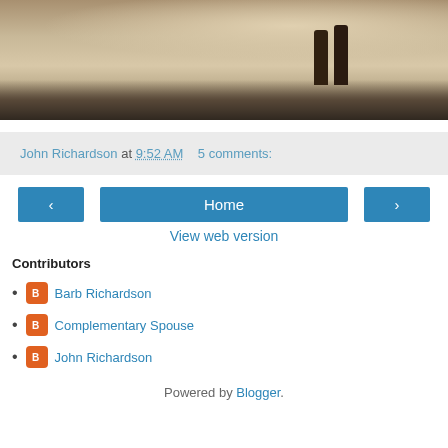[Figure (photo): Black and white photo of a beach scene, partially cropped, showing sandy ground with dark patches and legs of a figure visible at top right]
John Richardson at 9:52 AM    5 comments:
< Home >
View web version
Contributors
Barb Richardson
Complementary Spouse
John Richardson
Powered by Blogger.